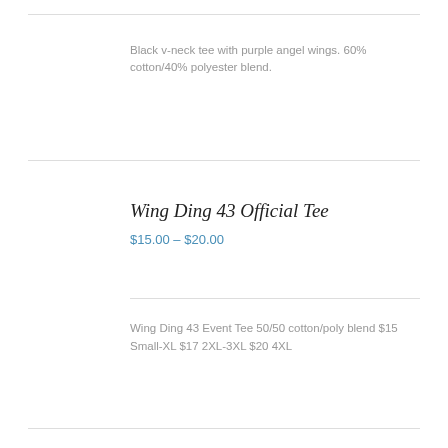Black v-neck tee with purple angel wings. 60% cotton/40% polyester blend.
Wing Ding 43 Official Tee
$15.00 – $20.00
Wing Ding 43 Event Tee 50/50 cotton/poly blend $15 Small-XL $17 2XL-3XL $20 4XL